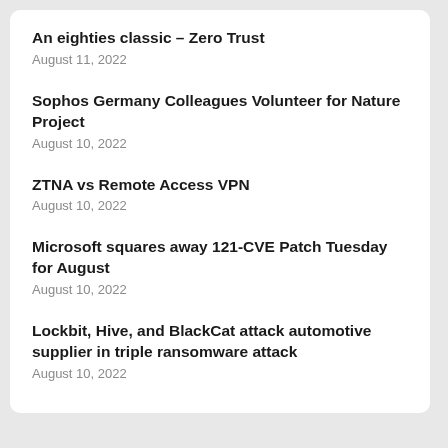An eighties classic – Zero Trust
August 11, 2022
Sophos Germany Colleagues Volunteer for Nature Project
August 10, 2022
ZTNA vs Remote Access VPN
August 10, 2022
Microsoft squares away 121-CVE Patch Tuesday for August
August 10, 2022
Lockbit, Hive, and BlackCat attack automotive supplier in triple ransomware attack
August 10, 2022